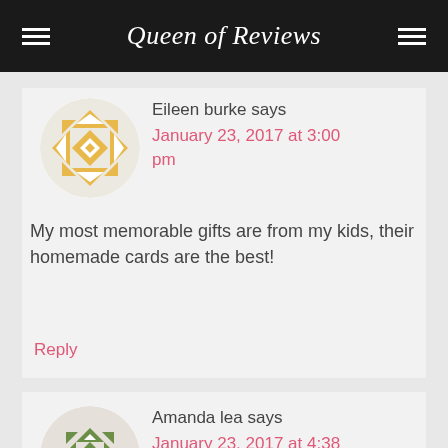Queen of Reviews
Eileen burke says
January 23, 2017 at 3:00 pm
My most memorable gifts are from my kids, their homemade cards are the best!
Reply
Amanda lea says
January 23, 2017 at 4:38 pm